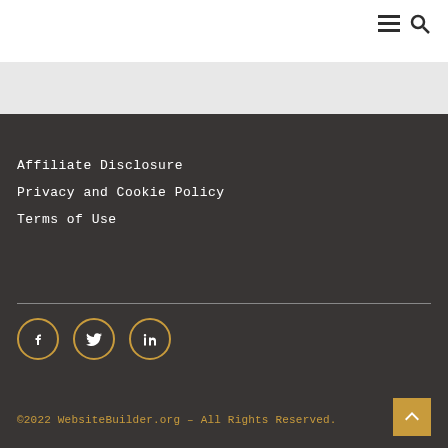≡ 🔍
Affiliate Disclosure
Privacy and Cookie Policy
Terms of Use
[Figure (infographic): Social media icons: Facebook, Twitter, LinkedIn — gold circle outlines with white icons on dark background]
©2022 WebsiteBuilder.org – All Rights Reserved.